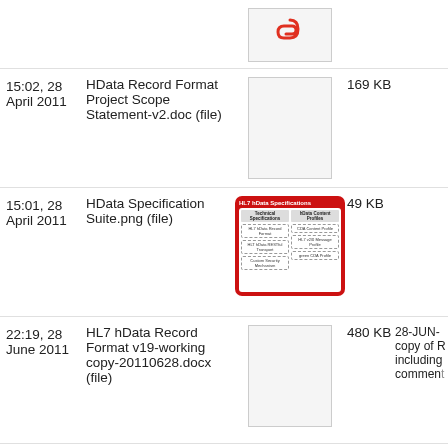| Date | Name | Thumbnail | Size | Description |
| --- | --- | --- | --- | --- |
| 15:02, 28 April 2011 | HData Record Format Project Scope Statement-v2.doc (file) | [doc thumbnail] | 169 KB |  |
| 15:01, 28 April 2011 | HData Specification Suite.png (file) | [HData Spec image] | 49 KB |  |
| 22:19, 28 June 2011 | HL7 hData Record Format v19-working copy-20110628.docx (file) | [doc thumbnail] | 480 KB | 28-JUN- copy of R including comment |
| 21:51, 5 | HL7 hData Record Format v20-working | [doc thumbnail] | 599 |  |